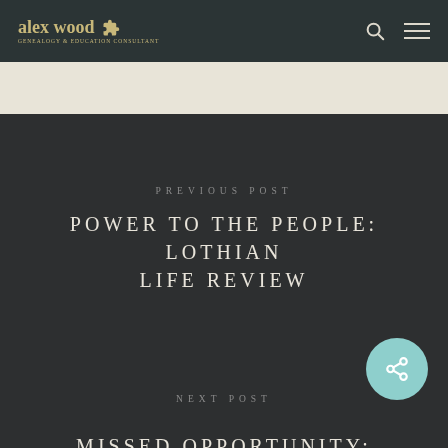alex wood Genealogy & Education Consultant
PREVIOUS POST
POWER TO THE PEOPLE: LOTHIAN LIFE REVIEW
NEXT POST
MISSED OPPORTUNITY: